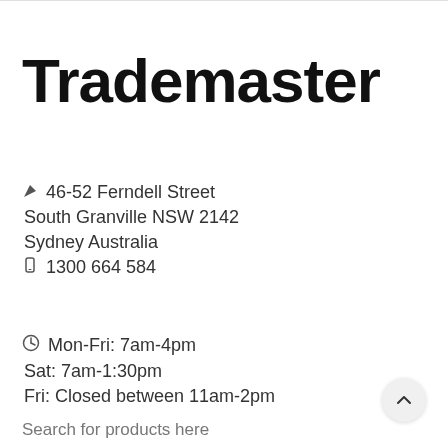Trademaster
46-52 Ferndell Street
South Granville NSW 2142
Sydney Australia
1300 664 584
Mon-Fri: 7am-4pm
Sat: 7am-1:30pm
Fri: Closed between 11am-2pm
Search for products here